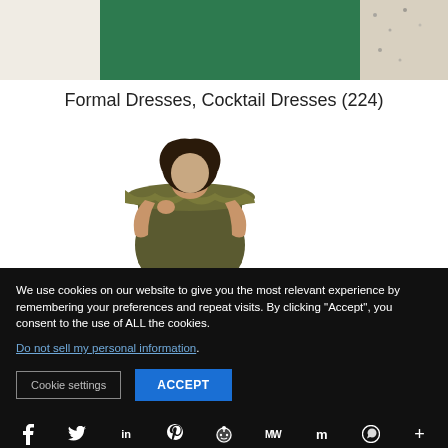[Figure (photo): Partial view of a woman in a green formal dress, cropped at bottom showing torso/waist area with a decorative vase in background]
Formal Dresses, Cocktail Dresses (224)
[Figure (photo): Woman wearing an olive/army green off-shoulder ruffle dress, posing with hand near collar]
We use cookies on our website to give you the most relevant experience by remembering your preferences and repeat visits. By clicking “Accept”, you consent to the use of ALL the cookies.
Do not sell my personal information.
Cookie settings   ACCEPT